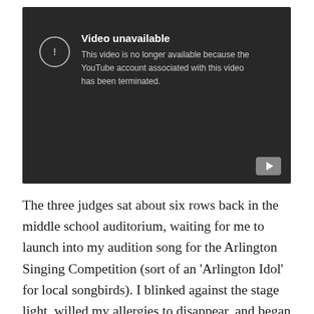[Figure (screenshot): YouTube video unavailable error screen with dark background. Shows a circle with exclamation mark icon, title 'Video unavailable', and message 'This video is no longer available because the YouTube account associated with this video has been terminated.' A YouTube logo button appears in the bottom right corner.]
The three judges sat about six rows back in the middle school auditorium, waiting for me to launch into my audition song for the Arlington Singing Competition (sort of an 'Arlington Idol' for local songbirds). I blinked against the stage light, willed my allergies to disappear, and began to sing 'How Are Things In Glocca Morra' a